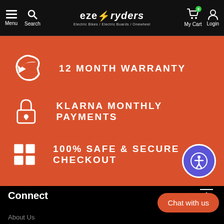Menu | Search | eze/ryders Electric Bikes / Electric Boards / Onewheel | My Cart (0) | Login
12 MONTH WARRANTY
KLARNA MONTHLY PAYMENTS
100% SAFE & SECURE CHECKOUT
Connect
About Us
Chat with us